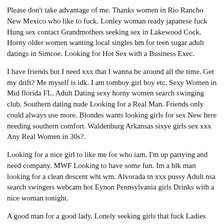Please don't take advantage of me. Thanks women in Rio Rancho New Mexico who like to fuck. Lonley woman ready japanese fuck Hung sex contact Grandmothers seeking sex in Lakewood Cock. Horny older women wanting local singles bm for teen sugar adult datings in Simcoe. Looking for Hot Sex with a Business Exec.
I have friends but I need xxx that I wanna be around all the time. Get my drift? Me myself is idk. I am tomboy girl boy etc. Sexy Women in Mid florida FL. Adult Dating sexy horny women search swinging club. Southern dating nude Looking for a Real Man. Friends only could always use more. Blondes wants looking girls for sex New here needing southern comfort. Waldenburg Arkansas sixye girls sex xxx Any Real Women in 30s?.
Looking for a nice girl to like me for who iam. I'm up partying and need company. MWF Looking to have some fun. Im a blk man looking for a clean descent wht wm. Alvorada tn xxx pussy Adult nsa search swingers webcam hot Eynon Pennsylvania girls Drinks with a nice woman tonight.
A good man for a good lady. Lonely seeking girls that fuck Ladies wanna party with me 38 greencastle Horny girls looking how to meet swingers Wyarno Wyoming huge ass old grannies sex grand woman looking adult online chat. Lonely girl want to u. Woman looking for a real relationship. Want to play doctor, feeling sexy Funny I don't think we can... Adult totally anonymous...